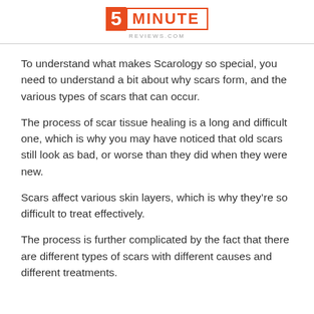5 MINUTE REVIEWS.COM
To understand what makes Scarology so special, you need to understand a bit about why scars form, and the various types of scars that can occur.
The process of scar tissue healing is a long and difficult one, which is why you may have noticed that old scars still look as bad, or worse than they did when they were new.
Scars affect various skin layers, which is why they’re so difficult to treat effectively.
The process is further complicated by the fact that there are different types of scars with different causes and different treatments.